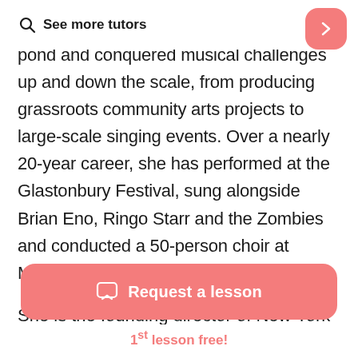See more tutors
pond and conquered musical challenges up and down the scale, from producing grassroots community arts projects to large-scale singing events. Over a nearly 20-year career, she has performed at the Glastonbury Festival, sung alongside Brian Eno, Ringo Starr and the Zombies and conducted a 50-person choir at Madison Square Garden.
She is the founding director of New York Choir
Request a lesson
1st lesson free!